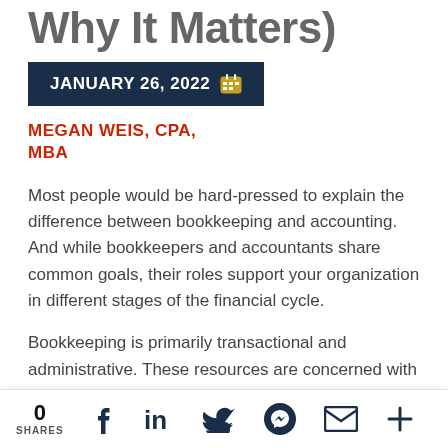Why It Matters)
JANUARY 26, 2022   MEGAN WEIS, CPA, MBA
Most people would be hard-pressed to explain the difference between bookkeeping and accounting. And while bookkeepers and accountants share common goals, their roles support your organization in different stages of the financial cycle.
Bookkeeping is primarily transactional and administrative. These resources are concerned with accurately recording financial transactions in a timely manner. Accounting is more subjective, providing an organization with business insights based on the data gathered from the bookkeeper's ledgers.
0 SHARES  [social share icons: Facebook, LinkedIn, Twitter, Messenger, Email, More]